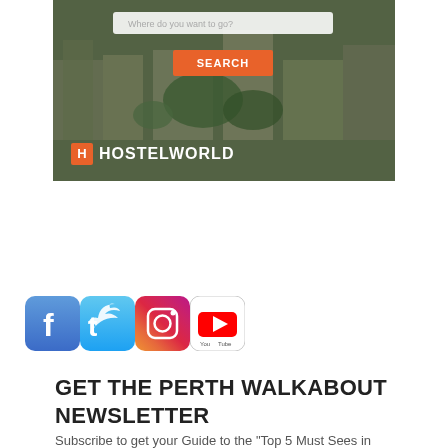[Figure (screenshot): Hostelworld advertisement banner with aerial city background, search bar reading 'Where do you want to go?', orange SEARCH button, and Hostelworld logo at bottom left]
[Figure (infographic): Social media icons row: Facebook, Twitter, Instagram, YouTube]
GET THE PERTH WALKABOUT NEWSLETTER
Subscribe to get your Guide to the "Top 5 Must Sees in